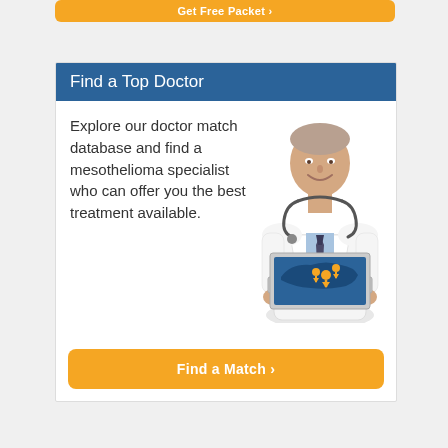Get Free Packet ›
Find a Top Doctor
Explore our doctor match database and find a mesothelioma specialist who can offer you the best treatment available.
[Figure (illustration): Doctor in white coat with stethoscope holding a laptop displaying a map of the United States with orange location pins]
Find a Match ›